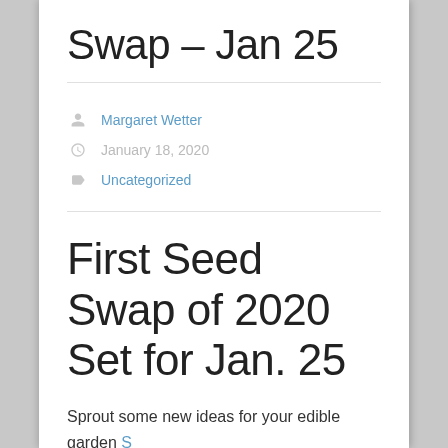Swap – Jan 25
Margaret Wetter
January 18, 2020
Uncategorized
First Seed Swap of 2020 Set for Jan. 25
Sprout some new ideas for your edible garden...